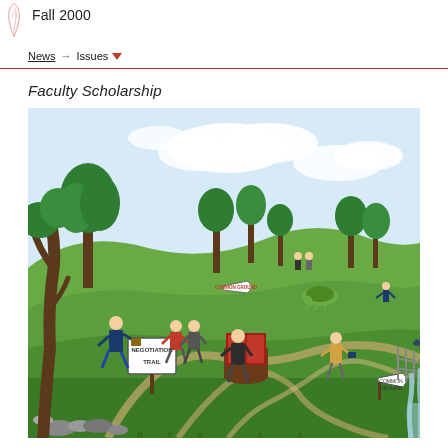Fall 2000
News → Issues ▼
Faculty Scholarship
[Figure (illustration): A detailed watercolor-style illustration showing a whimsical outdoor scene with winding paths through a landscape with trees, hills, and a bridge. Multiple figures carry books and briefcases along trails with signs reading 'NEGOTIATION TRAIL' and other text. A large red book sits on a tree stump in the center. Characters include business people walking along different paths, a turtle on a hill, and a bird on a fence post near a waterfall on the right side.]